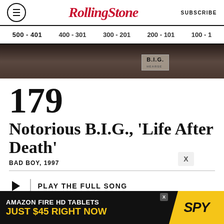RollingStone — SUBSCRIBE
500 - 401 | 400 - 301 | 300 - 201 | 200 - 101 | 100 - 1
[Figure (photo): Black and white photo strip showing a hearse or vehicle with a B.I.G. label]
179 Notorious B.I.G., 'Life After Death'
BAD BOY, 1997
PLAY THE FULL SONG
Powered by Apple Music
[Figure (infographic): Amazon Fire HD Tablets advertisement: AMAZON FIRE HD TABLETS JUST $45 RIGHT NOW — SPY]